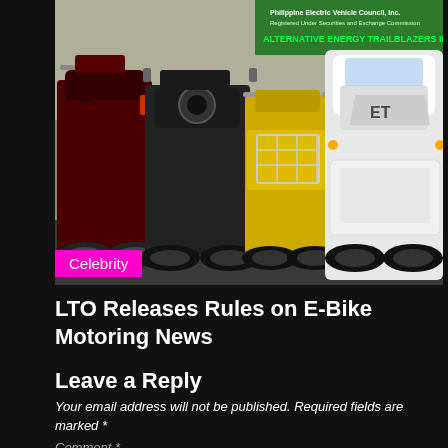[Figure (photo): Multiple electric bikes/scooters parked in a row, including a black e-bike, a yellow e-bike with a wire basket, and a white scooter with 'ET' branding. A green banner in the background reads 'ALTERNATIVE ENERGY TRAILBLAZERS INC.' A pink 'Celebrity' label overlays the bottom-left of the image.]
LTO Releases Rules on E-Bike Motoring News
Leave a Reply
Your email address will not be published. Required fields are marked *
Comment *